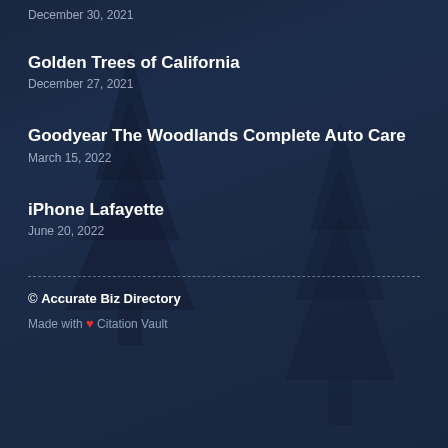December 30, 2021
Golden Trees of California
December 27, 2021
Goodyear The Woodlands Complete Auto Care
March 15, 2022
iPhone Lafayette
June 20, 2022
© Accurate Biz Directory
Made with ❤ Citation Vault